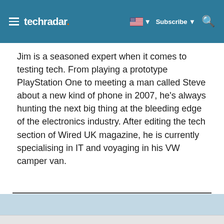techradar — Subscribe
Jim is a seasoned expert when it comes to testing tech. From playing a prototype PlayStation One to meeting a man called Steve about a new kind of phone in 2007, he's always hunting the next big thing at the bleeding edge of the electronics industry. After editing the tech section of Wired UK magazine, he is currently specialising in IT and voyaging in his VW camper van.